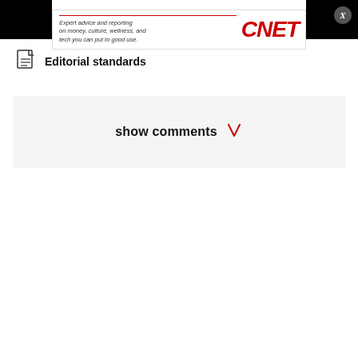[Figure (logo): CNET advertisement banner with red horizontal line, text 'Expert advice and reporting on money, culture, wellness, and tech you can put to good use.' and red CNET logo]
Editorial standards
show comments ↓